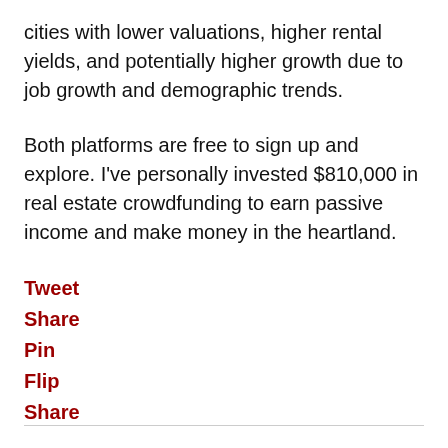cities with lower valuations, higher rental yields, and potentially higher growth due to job growth and demographic trends.
Both platforms are free to sign up and explore. I've personally invested $810,000 in real estate crowdfunding to earn passive income and make money in the heartland.
Tweet
Share
Pin
Flip
Share